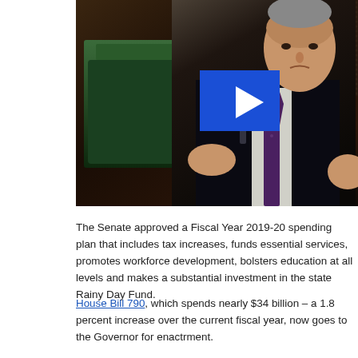[Figure (photo): Video thumbnail showing a man in a dark suit and tie gesturing while speaking, presumably in a legislative chamber with green chairs visible. A blue play button overlay is in the center of the image.]
The Senate approved a Fiscal Year 2019-20 spending plan that includes tax increases, funds essential services, promotes workforce development, bolsters education at all levels and makes a substantial investment in the state Rainy Day Fund.
House Bill 790, which spends nearly $34 billion – a 1.8 percent increase over the current fiscal year, now goes to the Governor for enactment.